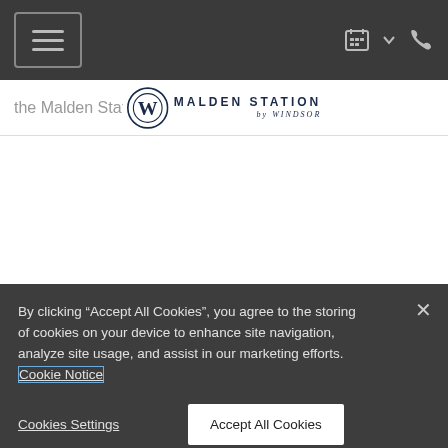Navigation bar with hamburger menu and icons
[Figure (logo): Malden Station by Windsor logo with W emblem and text overlay on header bar]
By clicking “Accept All Cookies”, you agree to the storing of cookies on your device to enhance site navigation, analyze site usage, and assist in our marketing efforts. Cookie Notice
Cookies Settings
Accept All Cookies